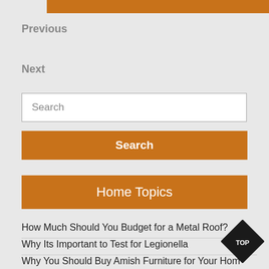Previous
Next
Search
Search
Home Topics
How Much Should You Budget for a Metal Roof?
Why Its Important to Test for Legionella
Why You Should Buy Amish Furniture for Your Home